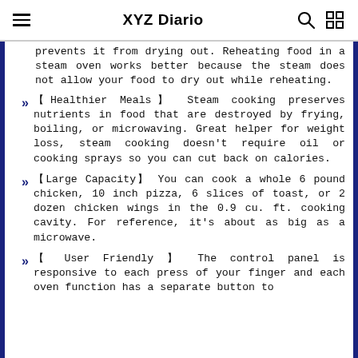XYZ Diario
prevents it from drying out. Reheating food in a steam oven works better because the steam does not allow your food to dry out while reheating.
【Healthier Meals】 Steam cooking preserves nutrients in food that are destroyed by frying, boiling, or microwaving. Great helper for weight loss, steam cooking doesn't require oil or cooking sprays so you can cut back on calories.
【Large Capacity】 You can cook a whole 6 pound chicken, 10 inch pizza, 6 slices of toast, or 2 dozen chicken wings in the 0.9 cu. ft. cooking cavity. For reference, it's about as big as a microwave.
【 User Friendly 】 The control panel is responsive to each press of your finger and each oven function has a separate button to